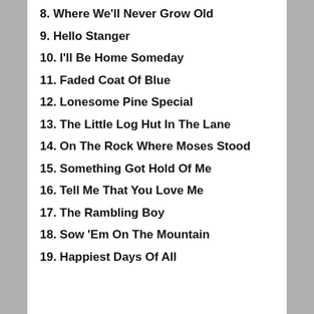8. Where We'll Never Grow Old
9. Hello Stanger
10. I'll Be Home Someday
11. Faded Coat Of Blue
12. Lonesome Pine Special
13. The Little Log Hut In The Lane
14. On The Rock Where Moses Stood
15. Something Got Hold Of Me
16. Tell Me That You Love Me
17. The Rambling Boy
18. Sow 'Em On The Mountain
19. Happiest Days Of All